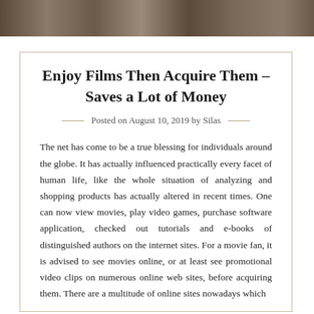[Figure (photo): Partial view of a room interior photo strip at the top of the page]
Enjoy Films Then Acquire Them – Saves a Lot of Money
Posted on August 10, 2019 by Silas
The net has come to be a true blessing for individuals around the globe. It has actually influenced practically every facet of human life, like the whole situation of analyzing and shopping products has actually altered in recent times. One can now view movies, play video games, purchase software application, checked out tutorials and e-books of distinguished authors on the internet sites. For a movie fan, it is advised to see movies online, or at least see promotional video clips on numerous online web sites, before acquiring them. There are a multitude of online sites nowadays which